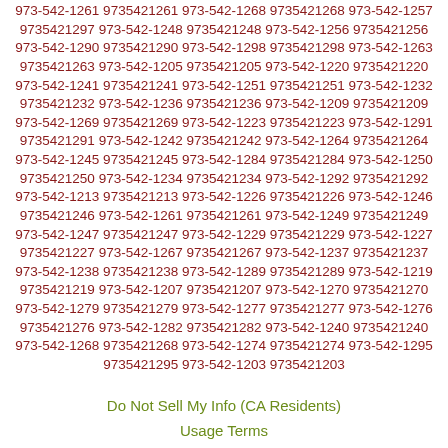973-542-1261 9735421261 973-542-1268 9735421268 973-542-1257 9735421297 973-542-1248 9735421248 973-542-1256 9735421256 973-542-1290 9735421290 973-542-1298 9735421298 973-542-1263 9735421263 973-542-1205 9735421205 973-542-1220 9735421220 973-542-1241 9735421241 973-542-1251 9735421251 973-542-1232 9735421232 973-542-1236 9735421236 973-542-1209 9735421209 973-542-1269 9735421269 973-542-1223 9735421223 973-542-1291 9735421291 973-542-1242 9735421242 973-542-1264 9735421264 973-542-1245 9735421245 973-542-1284 9735421284 973-542-1250 9735421250 973-542-1234 9735421234 973-542-1292 9735421292 973-542-1213 9735421213 973-542-1226 9735421226 973-542-1246 9735421246 973-542-1261 9735421261 973-542-1249 9735421249 973-542-1247 9735421247 973-542-1229 9735421229 973-542-1227 9735421227 973-542-1267 9735421267 973-542-1237 9735421237 973-542-1238 9735421238 973-542-1289 9735421289 973-542-1219 9735421219 973-542-1207 9735421207 973-542-1270 9735421270 973-542-1279 9735421279 973-542-1277 9735421277 973-542-1276 9735421276 973-542-1282 9735421282 973-542-1240 9735421240 973-542-1268 9735421268 973-542-1274 9735421274 973-542-1295 9735421295 973-542-1203 9735421203
Do Not Sell My Info (CA Residents)
Usage Terms
Privacy
Questions